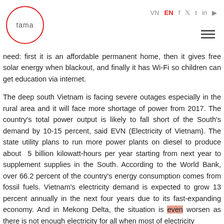tama | VN EN f t in [youtube]
need: first it is an affordable permanent home, then it gives free solar energy when blackout, and finally it has Wi-Fi so children can get education via internet.
The deep south Vietnam is facing severe outages especially in the rural area and it will face more shortage of power from 2017. The country's total power output is likely to fall short of the South's demand by 10-15 percent, said EVN (Electricity of Vietnam). The state utility plans to run more power plants on diesel to produce about 5 billion kilowatt-hours per year starting from next year to supplement supplies in the South. According to the World Bank, over 66.2 percent of the country's energy consumption comes from fossil fuels. Vietnam's electricity demand is expected to grow 13 percent annually in the next four years due to its fast-expanding economy. And in Mekong Delta, the situation is even worsen as there is not enough electricity for all when most of electricity